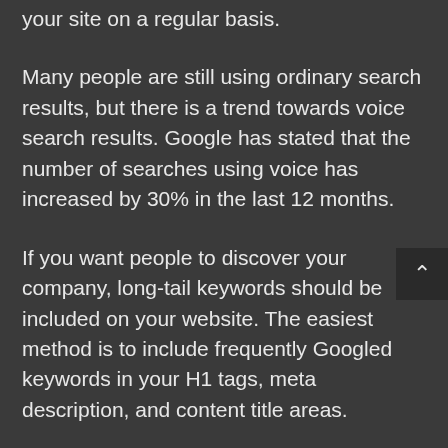your site on a regular basis.
Many people are still using ordinary search results, but there is a trend towards voice search results. Google has stated that the number of searches using voice has increased by 30% in the last 12 months.
If you want people to discover your company, long-tail keywords should be included on your website. The easiest method is to include frequently Googled keywords in your H1 tags, meta description, and content title areas.
From a big picture view, SEO is a vast topic. However, as you can see, it is effective. It isn't difficult to implement, and many small